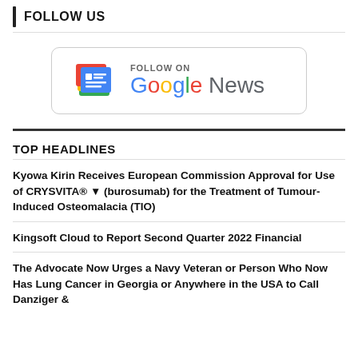FOLLOW US
[Figure (logo): Google News follow button with Google News icon and text 'FOLLOW ON Google News']
TOP HEADLINES
Kyowa Kirin Receives European Commission Approval for Use of CRYSVITA® ▼ (burosumab) for the Treatment of Tumour-Induced Osteomalacia (TIO)
Kingsoft Cloud to Report Second Quarter 2022 Financial
The Advocate Now Urges a Navy Veteran or Person Who Now Has Lung Cancer in Georgia or Anywhere in the USA to Call Danziger &